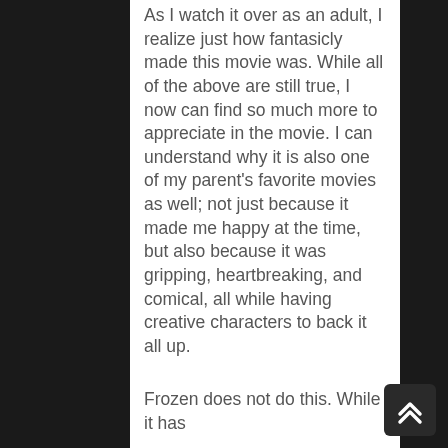As I watch it over as an adult, I realize just how fantasicly made this movie was. While all of the above are still true, I now can find so much more to appreciate in the movie. I can understand why it is also one of my parent's favorite movies as well; not just because it made me happy at the time, but also because it was gripping, heartbreaking, and comical, all while having creative characters to back it all up.
Frozen does not do this. While it has